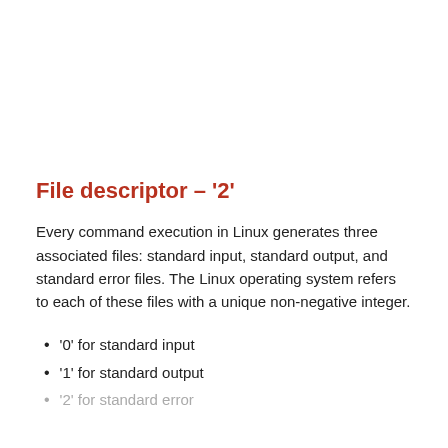File descriptor – '2'
Every command execution in Linux generates three associated files: standard input, standard output, and standard error files. The Linux operating system refers to each of these files with a unique non-negative integer.
'0' for standard input
'1' for standard output
'2' for standard error